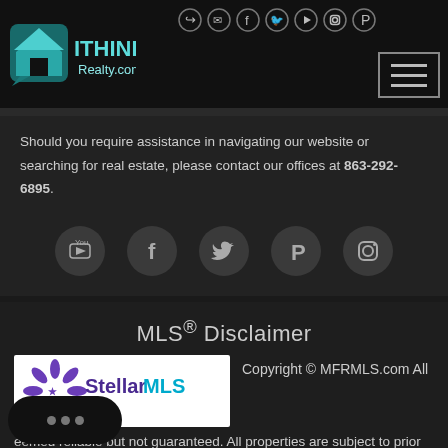[Figure (logo): iThink Realty.com logo with house icon in teal/green on black header]
[Figure (infographic): Top navigation social icons: login, email, facebook, twitter, youtube, instagram, pinterest]
[Figure (other): Hamburger menu button (three horizontal lines)]
Should you require assistance in navigating our website or searching for real estate, please contact our offices at 863-292-6895
[Figure (infographic): Social media icon row: YouTube, Facebook, Twitter, Pinterest, Instagram — dark circular buttons]
MLS® Disclaimer
[Figure (logo): Stellar MLS logo — white box with purple 'Stellar MLS' text and star graphic]
Copyright © MFRMLS.com All
eemed reliable but not guaranteed. All properties are subject to prior sale, change or withdrawal. Neither listing